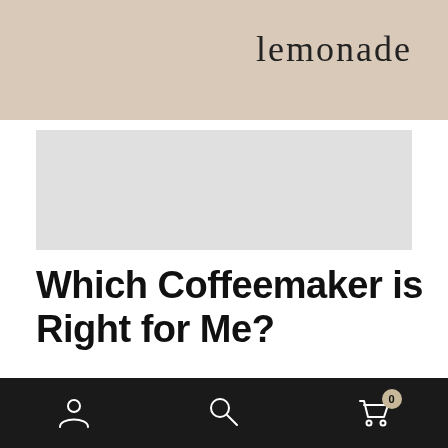lemonade
[Figure (other): Grey image placeholder / banner area]
Which Coffeemaker is Right for Me?
HEALTHY / september 10, 2018
The first thing you need to do is sit down and set your goals. Diana Scharf Hunt said “Goals are dreams with deadlines.” A
Navigation bar with user icon, search icon, and cart icon showing 0 items